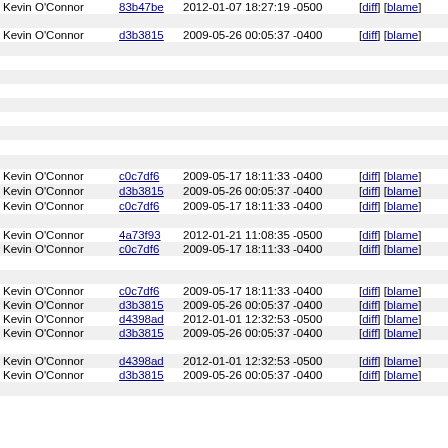| Author | Commit | Date | Links | Line | Code |
| --- | --- | --- | --- | --- | --- |
| Kevin O'Connor | 83b47be | 2012-01-07 18:27:19 -0500 | [diff] [blame] | 313 |  |
|  |  |  |  | 314 |  |
| Kevin O'Connor | d3b3815 | 2009-05-26 00:05:37 -0400 | [diff] [blame] | 315 |  |
|  |  |  |  | 316 |  |
|  |  |  |  | 317 |  |
|  |  |  |  | 318 |  |
|  |  |  |  | 319 |  |
|  |  |  |  | 320 |  |
|  |  |  |  | 321 |  |
|  |  |  |  | 322 |  |
|  |  |  |  | 323 | } |
|  |  |  |  | 324 |  |
| Kevin O'Connor | c0c7df6 | 2009-05-17 18:11:33 -0400 | [diff] [blame] | 325 | voi |
| Kevin O'Connor | d3b3815 | 2009-05-26 00:05:37 -0400 | [diff] [blame] | 326 | vga |
| Kevin O'Connor | c0c7df6 | 2009-05-17 18:11:33 -0400 | [diff] [blame] | 327 | { |
|  |  |  |  | 328 |  |
| Kevin O'Connor | 4a73f93 | 2012-01-21 11:08:35 -0500 | [diff] [blame] | 329 |  |
| Kevin O'Connor | c0c7df6 | 2009-05-17 18:11:33 -0400 | [diff] [blame] | 330 |  |
|  |  |  |  | 331 |  |
|  |  |  |  | 332 |  |
| Kevin O'Connor | c0c7df6 | 2009-05-17 18:11:33 -0400 | [diff] [blame] | 333 |  |
| Kevin O'Connor | d3b3815 | 2009-05-26 00:05:37 -0400 | [diff] [blame] | 334 |  |
| Kevin O'Connor | d4398ad | 2012-01-01 12:32:53 -0500 | [diff] [blame] | 335 |  |
| Kevin O'Connor | d3b3815 | 2009-05-26 00:05:37 -0400 | [diff] [blame] | 336 |  |
|  |  |  |  | 337 |  |
| Kevin O'Connor | d4398ad | 2012-01-01 12:32:53 -0500 | [diff] [blame] | 338 |  |
| Kevin O'Connor | d3b3815 | 2009-05-26 00:05:37 -0400 | [diff] [blame] | 339 |  |
|  |  |  |  | 340 |  |